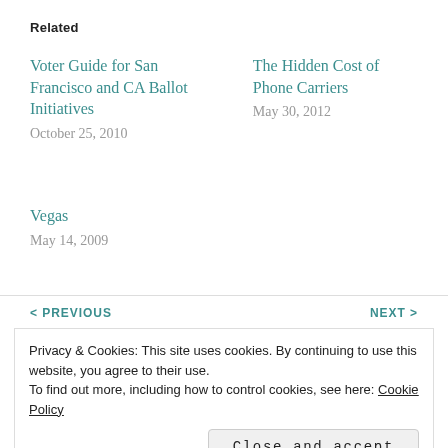Related
Voter Guide for San Francisco and CA Ballot Initiatives
October 25, 2010
The Hidden Cost of Phone Carriers
May 30, 2012
Vegas
May 14, 2009
< PREVIOUS
NEXT >
Privacy & Cookies: This site uses cookies. By continuing to use this website, you agree to their use.
To find out more, including how to control cookies, see here: Cookie Policy
Close and accept